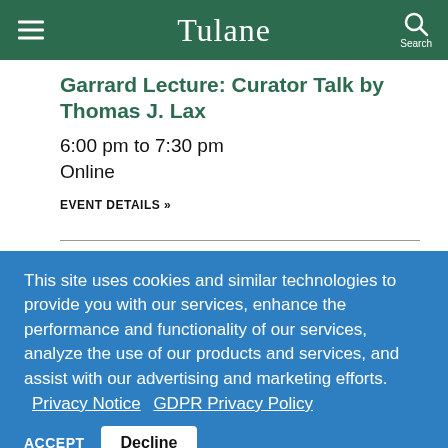Tulane
Garrard Lecture: Curator Talk by Thomas J. Lax
6:00 pm to 7:30 pm
Online
EVENT DETAILS »
This site uses cookies and similar technologies to provide you with our services, enhance the performance and functionality of our services, analyze the use of our products and services, and assist with our advertising and marketing efforts.  Privacy Notice   GDPR Privacy Policy
ACCEPT   Decline